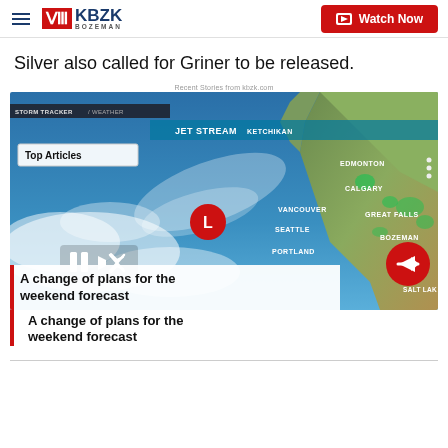KBZK BOZEMAN — Watch Now
Silver also called for Griner to be released.
Recent Stories from kbzk.com
[Figure (screenshot): Weather map screenshot showing jet stream tracker over the Pacific Northwest, with city labels including Ketchikan, Edmonton, Calgary, Vancouver, Seattle, Great Falls, Bozeman, Portland, Salt Lake. A red L marker for low pressure system is visible over the Pacific Ocean. Playback controls (pause, mute) visible. A red arrow navigation button on the right.]
A change of plans for the weekend forecast